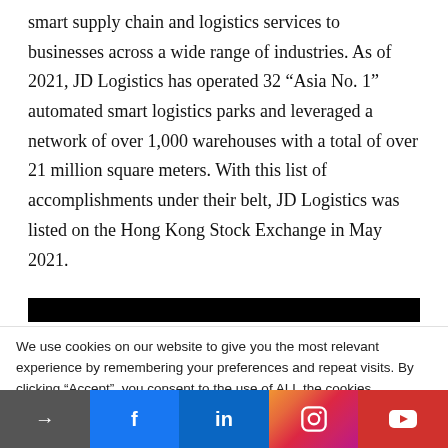smart supply chain and logistics services to businesses across a wide range of industries. As of 2021, JD Logistics has operated 32 “Asia No. 1” automated smart logistics parks and leveraged a network of over 1,000 warehouses with a total of over 21 million square meters. With this list of accomplishments under their belt, JD Logistics was listed on the Hong Kong Stock Exchange in May 2021.
[Figure (other): Black navigation/header bar at the top of a webpage section]
We use cookies on our website to give you the most relevant experience by remembering your preferences and repeat visits. By clicking “Accept”, you consent to the use of ALL the cookies.
Cookie settings  ACCEPT
→  f  in  [instagram]  [youtube]